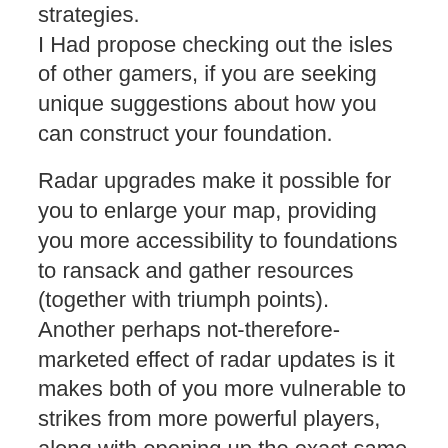strategies. I Had propose checking out the isles of other gamers, if you are seeking unique suggestions about how you can construct your foundation.
Radar upgrades make it possible for you to enlarge your map, providing you more accessibility to foundations to ransack and gather resources (together with triumph points). Another perhaps not-therefore-marketed effect of radar updates is it makes both of you more vulnerable to strikes from more powerful players, along with opening up the exact same more powerful chances for you as attacker. Ensure troops and all of your defenses are suitably updated before opening the proverbial flood-gates to tougher